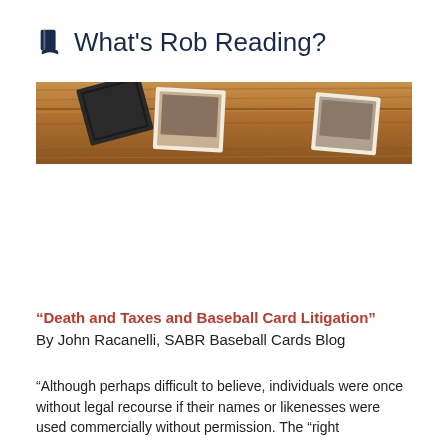What's Rob Reading?
[Figure (photo): Overhead photo of vintage baseball cards scattered on a wooden surface]
“Death and Taxes and Baseball Card Litigation”
By John Racanelli, SABR Baseball Cards Blog
“Although perhaps difficult to believe, individuals were once without legal recourse if their names or likenesses were used commercially without permission. The “right